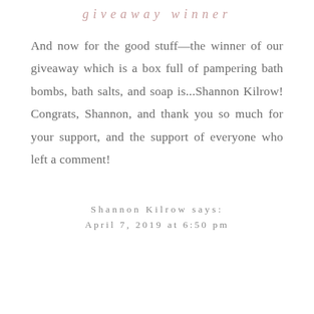giveaway winner
And now for the good stuff—the winner of our giveaway which is a box full of pampering bath bombs, bath salts, and soap is...Shannon Kilrow! Congrats, Shannon, and thank you so much for your support, and the support of everyone who left a comment!
Shannon Kilrow says:
April 7, 2019 at 6:50 pm